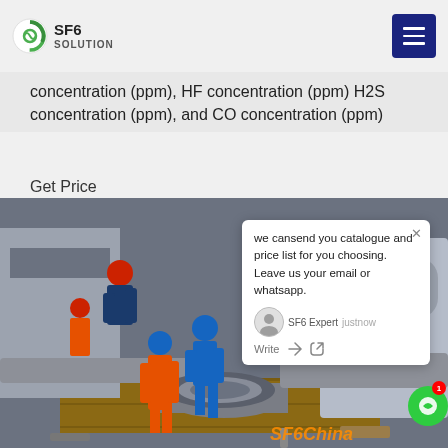SF6 SOLUTION
concentration (ppm), HF concentration (ppm) H2S concentration (ppm), and CO concentration (ppm)
Get Price
[Figure (photo): Industrial workers in hard hats and protective gear working on large machinery/pipes in a factory or industrial facility. A chat popup overlay is visible showing a message from SF6 Expert about sending catalogue and price list. SF6China watermark visible at bottom right.]